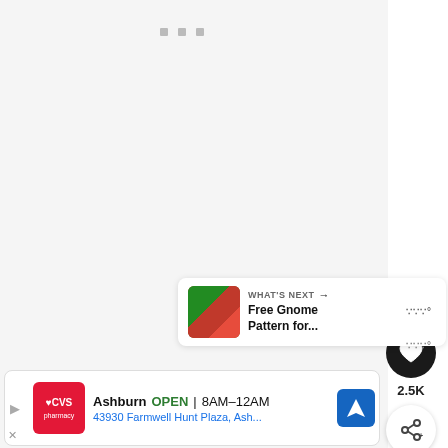[Figure (screenshot): Mobile app screenshot showing a light gray content area with three small gray square dots near the top center, a black circular heart/like button on the right side with a count of 2.5K below it, a white circular share button, a 'What's Next' card showing a gnome thumbnail and text 'Free Gnome Pattern for...', a CVS Pharmacy ad bar at the bottom with store info for Ashburn location open 8AM-12AM at 43930 Farmwell Hunt Plaza, and weather icons on the far right.]